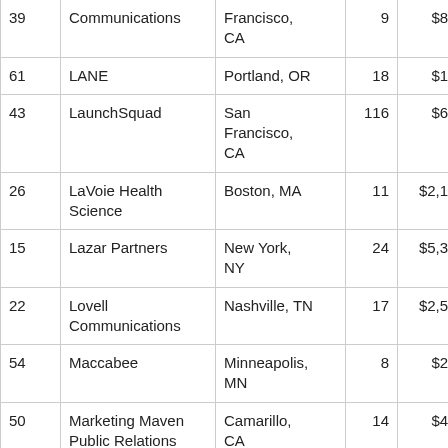| 39 | Communications | Francisco, CA | 9 | $865,000 |
| 61 | LANE | Portland, OR | 18 | $117,668 |
| 43 | LaunchSquad | San Francisco, CA | 116 | $675,000 |
| 26 | LaVoie Health Science | Boston, MA | 11 | $2,117,940 |
| 15 | Lazar Partners | New York, NY | 24 | $5,393,183 |
| 22 | Lovell Communications | Nashville, TN | 17 | $2,573,953 |
| 54 | Maccabee | Minneapolis, MN | 8 | $297,376 |
| 50 | Marketing Maven Public Relations | Camarillo, CA | 14 | $432,033 |
| 19 | Matter Communications | Newburyport, MA | 123 | $2,887,874 |
| 17 | MCS Healthcare Public Relations | Bedminster, NJ | 19 | $3,823,501 |
| 49 | Merritt Group | McLean, VA | 54 | $479,100 |
| 32 | Merryman Communications, | Redondo Beach, CA | 9 | $1,229,868 |